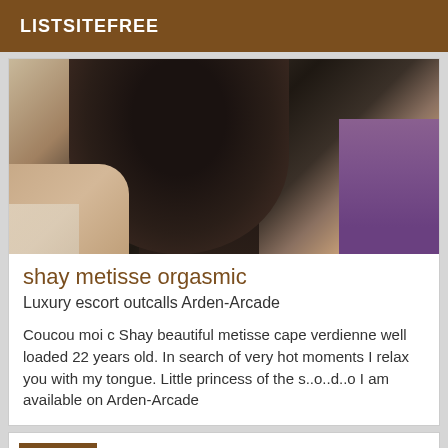LISTSITEFREE
[Figure (photo): Close-up photo of a person with dark curly hair bent forward, wearing dark clothing, with a purple garment visible on the right side]
shay metisse orgasmic
Luxury escort outcalls Arden-Arcade
Coucou moi c Shay beautiful metisse cape verdienne well loaded 22 years old. In search of very hot moments I relax you with my tongue. Little princess of the s..o..d..o I am available on Arden-Arcade
Verified